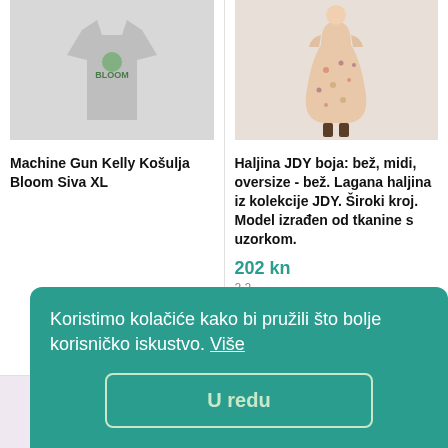[Figure (photo): Gray t-shirt with Bloom graphic print]
[Figure (photo): Floral midi dress in beige/oversize style, worn by a model]
Machine Gun Kelly Košulja Bloom Siva XL
Haljina JDY boja: bež, midi, oversize - bež. Lagana haljina iz kolekcije JDY. Široki kroj. Model izrađen od tkanine s uzorkom.
130 kn
202 kn
17 ...
1 ponuda
Koristimo kolačiće kako bi pružili što bolje korisničko iskustvo. Više
U redu